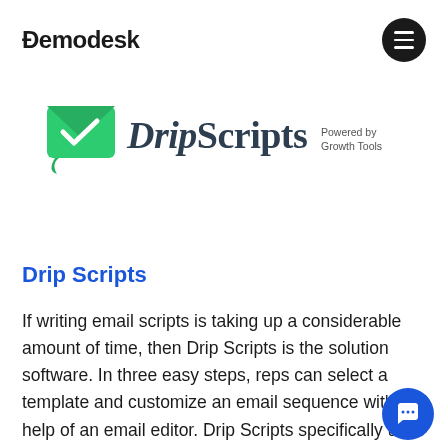Demodesk
[Figure (logo): DripScripts logo — green envelope icon with white checkmark and DripScripts wordmark, 'Powered by Growth Tools' tagline]
Drip Scripts
If writing email scripts is taking up a considerable amount of time, then Drip Scripts is the solution software. In three easy steps, reps can select a template and customize an email sequence with help of an email editor. Drip Scripts specifically uses templates with a proven track record of lead...